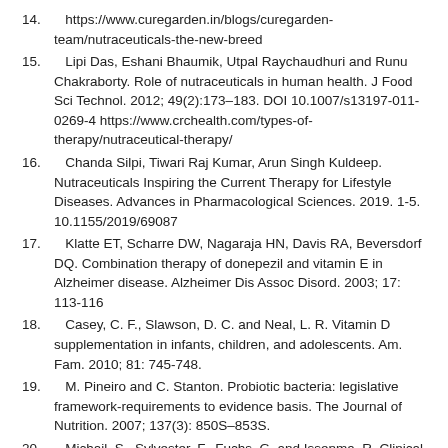14.    https://www.curegarden.in/blogs/curegarden-team/nutraceuticals-the-new-breed
15.    Lipi Das, Eshani Bhaumik, Utpal Raychaudhuri and Runu Chakraborty. Role of nutraceuticals in human health. J Food Sci Technol. 2012; 49(2):173–183. DOI 10.1007/s13197-011-0269-4 https://www.crchealth.com/types-of-therapy/nutraceutical-therapy/
16.    Chanda Silpi, Tiwari Raj Kumar, Arun Singh Kuldeep. Nutraceuticals Inspiring the Current Therapy for Lifestyle Diseases. Advances in Pharmacological Sciences. 2019. 1-5. 10.1155/2019/69087
17.    Klatte ET, Scharre DW, Nagaraja HN, Davis RA, Beversdorf DQ. Combination therapy of donepezil and vitamin E in Alzheimer disease. Alzheimer Dis Assoc Disord. 2003; 17: 113-116
18.    Casey, C. F., Slawson, D. C. and Neal, L. R. Vitamin D supplementation in infants, children, and adolescents. Am. Fam. 2010; 81: 745-748.
19.    M. Pineiro and C. Stanton. Probiotic bacteria: legislative framework-requirements to evidence basis. The Journal of Nutrition. 2007; 137(3): 850S–853S.
20.    Michail, S., Sylvester, F., Fuchs, G. and Issenma, R. Clinical efficacy of probiotics: Review of the evidence with focus on children, clinical practice guideline. J Pediatr Gastroenterol Nutr…